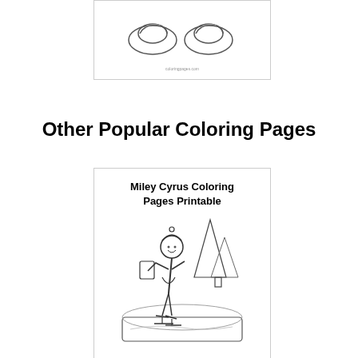[Figure (illustration): Coloring page image showing two pairs of shoes/boots at the top, with a faint website URL below them, inside a rectangular border.]
Other Popular Coloring Pages
[Figure (illustration): Coloring page thumbnail with title 'Miley Cyrus Coloring Pages Printable' and an illustration of a girl ice skating outdoors with trees in the background, inside a rectangular border.]